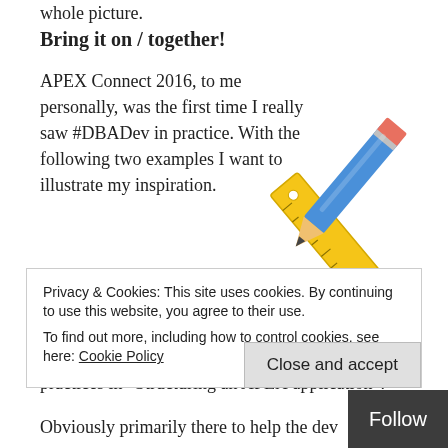whole picture.
Bring it on / together!
APEX Connect 2016, to me personally, was the first time I really saw #DBADev in practice. With the following two examples I want to illustrate my inspiration.
[Figure (illustration): Crossed pencil and ruler emoji-style illustration]
The first talk of this genre was @alexnuijten with his confessions, and subsequent smart tips and best practices in “Structuring an APEX application”.
Privacy & Cookies: This site uses cookies. By continuing to use this website, you agree to their use. To find out more, including how to control cookies, see here: Cookie Policy
Obviously primarily there to help the developer. A...